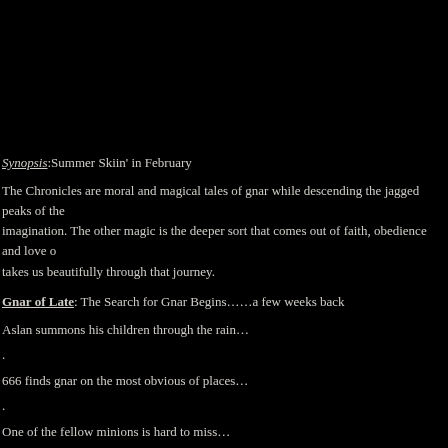Synopsis:Summer Skiin' in February
The Chronicles are moral and magical tales of gnar while descending the jagged peaks of the imagination. The other magic is the deeper sort that comes out of faith, obedience and love o takes us beautifully through that journey.
Gnar of Late: The Search for Gnar Begins……a few weeks back
Aslan summons his children through the rain…
.
666 finds gnar on the most obvious of places…
.
One of the fellow minions is hard to miss…